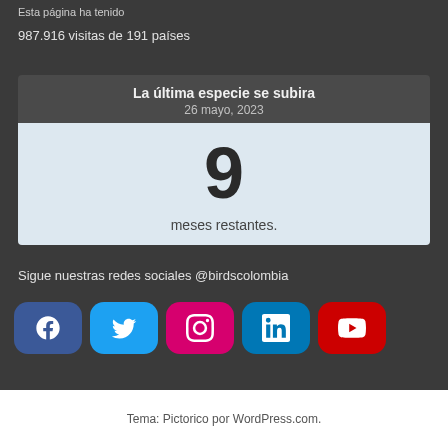Esta página ha tenido
987.916 visitas de 191 países
La última especie se subira
26 mayo, 2023
9
meses restantes.
Sigue nuestras redes sociales @birdscolombia
[Figure (infographic): Social media icon buttons for Facebook, Twitter, Instagram, LinkedIn, and YouTube]
Tema: Pictorico por WordPress.com.